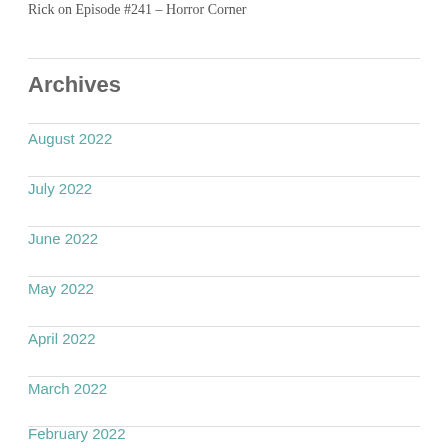Rick on Episode #241 – Horror Corner
Archives
August 2022
July 2022
June 2022
May 2022
April 2022
March 2022
February 2022